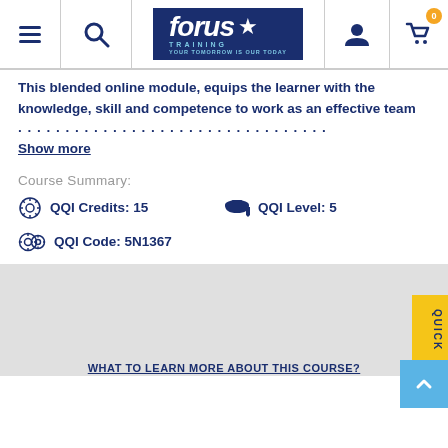Forus Training navigation bar with hamburger menu, search, logo, user icon, and cart
This blended online module, equips the learner with the knowledge, skill and competence to work as an effective team ...
Show more
Course Summary:
QQI Credits: 15
QQI Level: 5
QQI Code: 5N1367